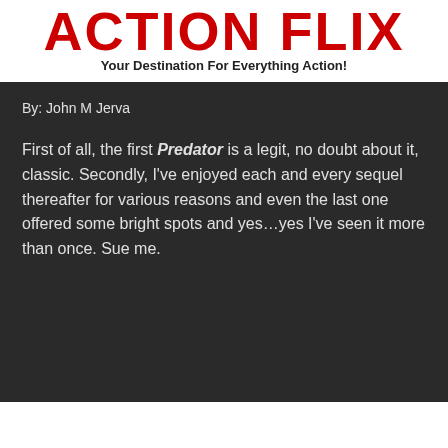ACTION FLIX
Your Destination For Everything Action!
By: John M Jerva
First of all, the first Predator is a legit, no doubt about it, classic. Secondly, I've enjoyed each and every sequel thereafter for various reasons and even the last one offered some bright spots and yes...yes I've seen it more than once. Sue me.